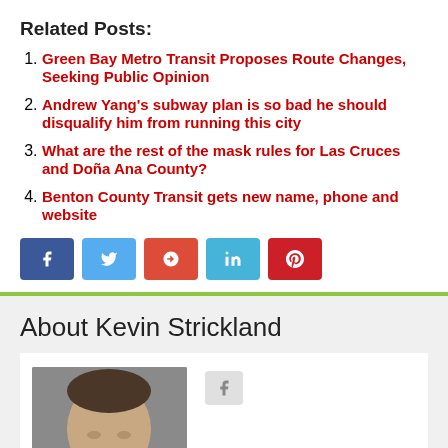Related Posts:
Green Bay Metro Transit Proposes Route Changes, Seeking Public Opinion
Andrew Yang's subway plan is so bad he should disqualify him from running this city
What are the rest of the mask rules for Las Cruces and Doña Ana County?
Benton County Transit gets new name, phone and website
[Figure (other): Social media share buttons: Facebook, Twitter, Google+, LinkedIn, Pinterest]
About Kevin Strickland
[Figure (photo): Author photo of Kevin Strickland, a man in professional attire]
[Figure (other): Author social media button and scroll-to-top green button]